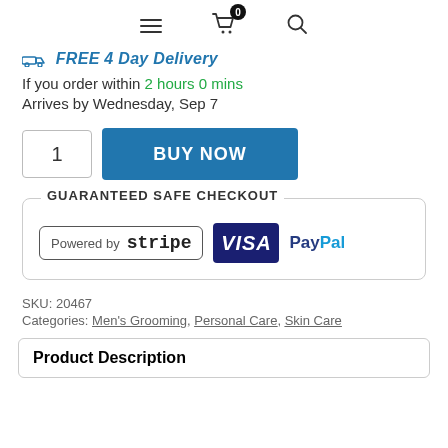Navigation bar with hamburger menu, cart (0 items), and search icon
FREE 4 Day Delivery
If you order within 2 hours 0 mins
Arrives by Wednesday, Sep 7
[Figure (other): Quantity input box showing '1' and a blue BUY NOW button]
GUARANTEED SAFE CHECKOUT
[Figure (other): Payment logos: Powered by Stripe, VISA, PayPal]
SKU: 20467
Categories: Men's Grooming, Personal Care, Skin Care
Product Description